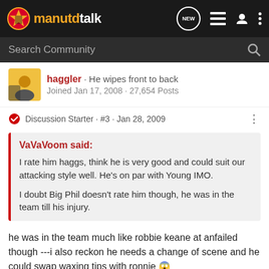manutdtalk
Search Community
haggler · He wipes front to back
Joined Jan 17, 2008 · 27,654 Posts
Discussion Starter · #3 · Jan 28, 2009
VaVaVoom said:
I rate him haggs, think he is very good and could suit our attacking style well. He's on par with Young IMO.

I doubt Big Phil doesn't rate him though, he was in the team till his injury.
he was in the team much like robbie keane at anfailed though ---i also reckon he needs a change of scene and he could swap waxing tips with ronnie 😱